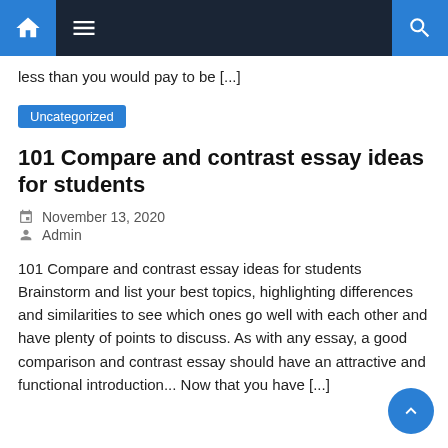Navigation bar with home, menu, and search icons
less than you would pay to be [...]
Uncategorized
101 Compare and contrast essay ideas for students
November 13, 2020
Admin
101 Compare and contrast essay ideas for students Brainstorm and list your best topics, highlighting differences and similarities to see which ones go well with each other and have plenty of points to discuss. As with any essay, a good comparison and contrast essay should have an attractive and functional introduction... Now that you have [...]